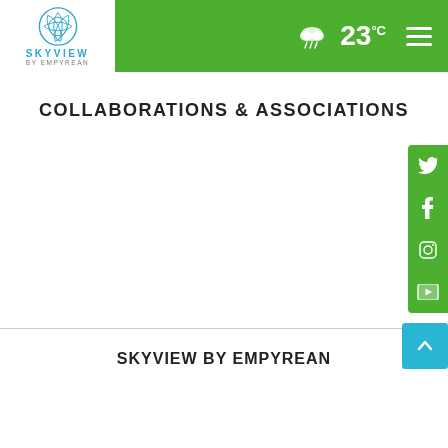[Figure (logo): Skyview by Empyrean logo with blue geometric circular emblem above SKYVIEW text and 'by EMPYREAN' subtitle]
[Figure (infographic): Green navigation header bar with weather icon showing rain cloud, temperature 23°C, and hamburger menu icon]
COLLABORATIONS & ASSOCIATIONS
[Figure (infographic): Green social media sidebar with Twitter, Facebook, Instagram, and YouTube icons]
[Figure (infographic): Cyan/teal scroll-to-top button with upward arrow]
SKYVIEW BY EMPYREAN